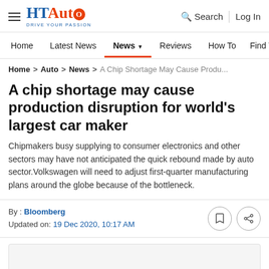HT Auto — Drive Your Passion | Search | Log In
Home | Latest News | News | Reviews | How To | Find Ve...
Home > Auto > News > A Chip Shortage May Cause Produ...
A chip shortage may cause production disruption for world's largest car maker
Chipmakers busy supplying to consumer electronics and other sectors may have not anticipated the quick rebound made by auto sector.Volkswagen will need to adjust first-quarter manufacturing plans around the globe because of the bottleneck.
By : Bloomberg
Updated on: 19 Dec 2020, 10:17 AM
[Figure (photo): Article image placeholder (light gray box)]